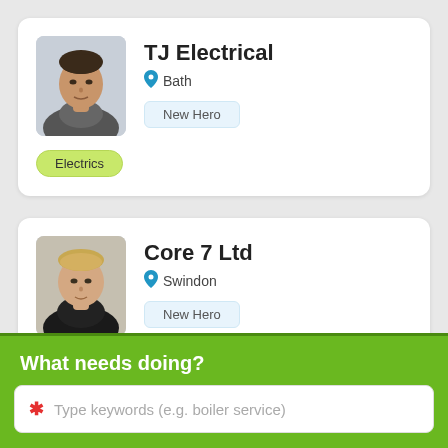[Figure (screenshot): Card listing for TJ Electrical, Bath, with profile photo (man with dark hair), New Hero badge, and Electrics tag]
TJ Electrical
Bath
New Hero
Electrics
[Figure (screenshot): Card listing for Core 7 Ltd, Swindon, with profile photo (blonde man), New Hero badge]
Core 7 Ltd
Swindon
New Hero
What needs doing?
Type keywords (e.g. boiler service)